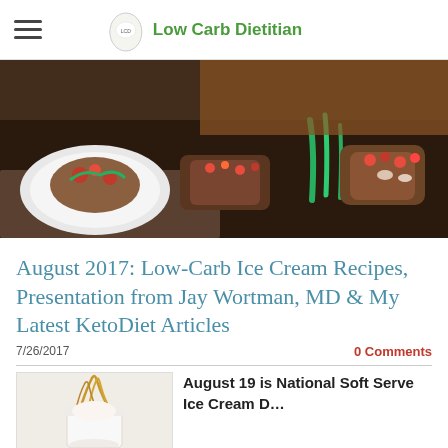Low Carb Dietitian
[Figure (photo): Hero banner photo of gourmet low-carb food dishes — seared meat and vegetables on plates with colorful garnishes]
August 2017: Low-Carb Ice Cream Recipes, Presentation from Jay Wortman, MD & My Latest KetoDiet Articles
7/26/2017
0 Comments
[Figure (photo): Close-up photo of ice cream cone or dessert with gold/caramel colored decorative elements against a light background]
August 19 is National Soft Serve Ice Cream D…